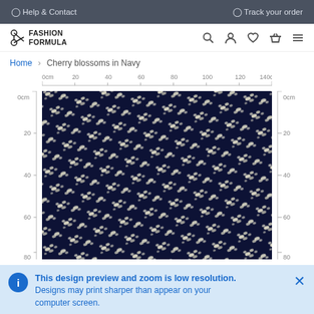Help & Contact   Track your order
[Figure (logo): Fashion Formula logo with scissors icon]
Home > Cherry blossoms in Navy
[Figure (photo): Fabric preview of cherry blossoms in navy pattern with centimeter rulers on top, left and right sides. Ruler shows 0cm to 140cm horizontally and 0cm to 80cm vertically.]
This design preview and zoom is low resolution. Designs may print sharper than appear on your computer screen.